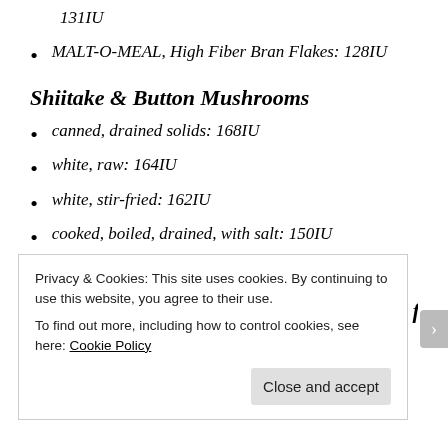131IU
MALT-O-MEAL, High Fiber Bran Flakes: 128IU
Shiitake & Button Mushrooms
canned, drained solids: 168IU
white, raw: 164IU
white, stir-fried: 162IU
cooked, boiled, drained, with salt: 150IU
cooked, boiled, drained, without salt: 150IU
In addition there are these vitamin D rich foods
Privacy & Cookies: This site uses cookies. By continuing to use this website, you agree to their use. To find out more, including how to control cookies, see here: Cookie Policy